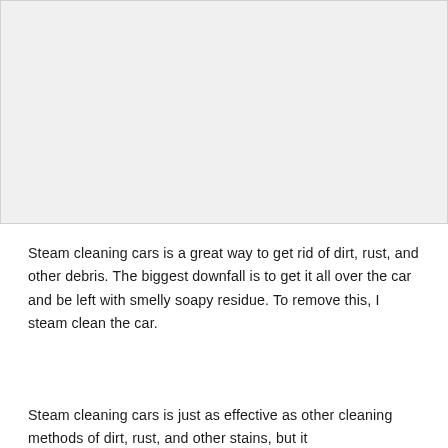[Figure (photo): A light gray rectangular image placeholder area occupying the top portion of the page.]
Steam cleaning cars is a great way to get rid of dirt, rust, and other debris. The biggest downfall is to get it all over the car and be left with smelly soapy residue. To remove this, I steam clean the car.
Steam cleaning cars is just as effective as other cleaning methods of dirt, rust, and other stains, but it